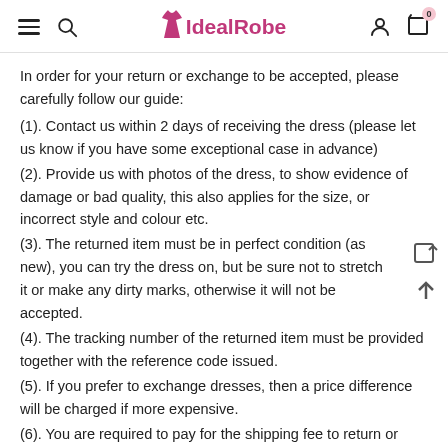IdealRobe
In order for your return or exchange to be accepted, please carefully follow our guide:
(1). Contact us within 2 days of receiving the dress (please let us know if you have some exceptional case in advance)
(2). Provide us with photos of the dress, to show evidence of damage or bad quality, this also applies for the size, or incorrect style and colour etc.
(3). The returned item must be in perfect condition (as new), you can try the dress on, but be sure not to stretch it or make any dirty marks, otherwise it will not be accepted.
(4). The tracking number of the returned item must be provided together with the reference code issued.
(5). If you prefer to exchange dresses, then a price difference will be charged if more expensive.
(6). You are required to pay for the shipping fee to return or exchange the dress.
(7). When returning the order, please make sure you...